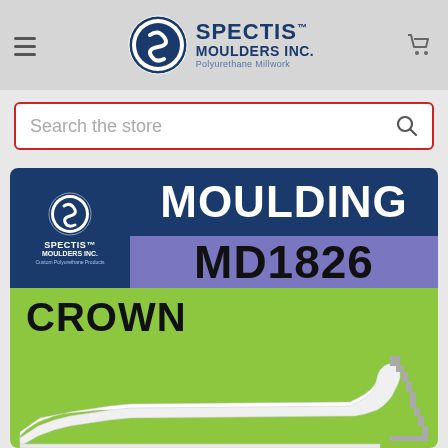Spectis Moulders Inc. — Polyurethane Millwork
Search the store
[Figure (screenshot): Spectis Moulders Inc. product page showing Moulding MD1826 Crown — product label with navy blue, purple, and green sections showing white moulding profile and cross-section diagram on green background]